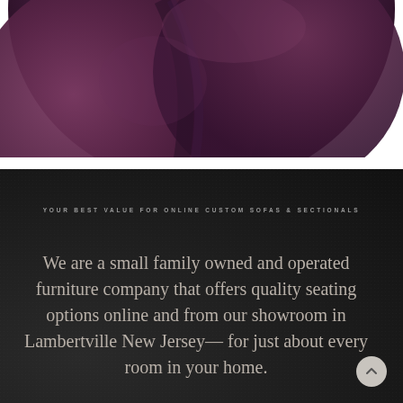[Figure (photo): Close-up photograph of dark purple/plum upholstery fabric or sofa cushion, showing texture and curved forms against a white background.]
YOUR BEST VALUE FOR ONLINE CUSTOM SOFAS & SECTIONALS
We are a small family owned and operated furniture company that offers quality seating options online and from our showroom in Lambertville New Jersey— for just about every room in your home.